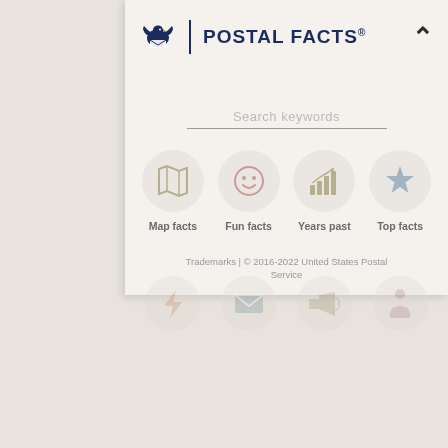[Figure (screenshot): USPS Postal Facts website screenshot showing header with USPS logo and 'POSTAL FACTS' text, search bar with 'Search keywords' placeholder, four category icon buttons (Map facts, Fun facts, Years past, Top facts), a trademark/copyright footer line, and a partially visible second row of icons. The image is overlaid on a beige/gray background.]
POSTAL FACTS®
Search keywords
Map facts
Fun facts
Years past
Top facts
Trademarks | © 2016-2022 United States Postal Service